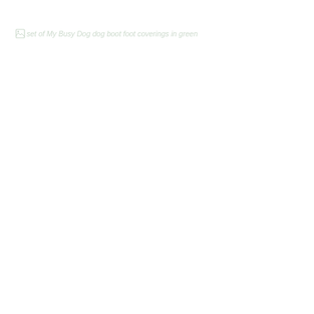set of My Busy Dog dog boot foot coverings in green